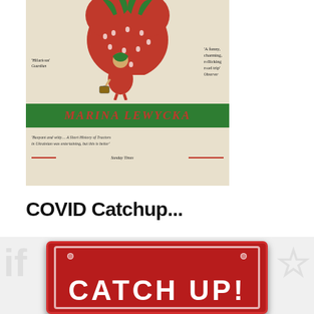[Figure (illustration): Book cover illustration for Marina Lewycka novel. Features a large red strawberry at top, a small illustrated figure of a woman in a red dress and green headscarf carrying a suitcase, a green banner with the author name 'MARINA LEWYCKA' in red letters, blurbs: 'Hilarious' Guardian, 'A funny, charming, rollicking road trip' Observer, 'Buoyant and witty... A Short History of Tractors in Ukrainian was entertaining, but this is better' Sunday Times. Beige/cream background.]
COVID Catchup...
[Figure (photo): Photo of a red metal license/number plate with white text reading 'CATCH UP!' partially visible (bottom is cropped). Faded ghost text visible in background on either side.]